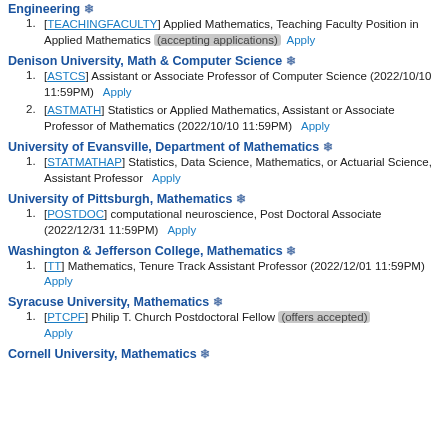Engineering ❄
[TEACHINGFACULTY] Applied Mathematics, Teaching Faculty Position in Applied Mathematics (accepting applications)  Apply
Denison University, Math & Computer Science ❄
[ASTCS] Assistant or Associate Professor of Computer Science (2022/10/10 11:59PM)  Apply
[ASTMATH] Statistics or Applied Mathematics, Assistant or Associate Professor of Mathematics (2022/10/10 11:59PM)  Apply
University of Evansville, Department of Mathematics ❄
[STATMATHAP] Statistics, Data Science, Mathematics, or Actuarial Science, Assistant Professor  Apply
University of Pittsburgh, Mathematics ❄
[POSTDOC] computational neuroscience, Post Doctoral Associate (2022/12/31 11:59PM)  Apply
Washington & Jefferson College, Mathematics ❄
[TT] Mathematics, Tenure Track Assistant Professor (2022/12/01 11:59PM)  Apply
Syracuse University, Mathematics ❄
[PTCPF] Philip T. Church Postdoctoral Fellow (offers accepted)  Apply
Cornell University, Mathematics ❄